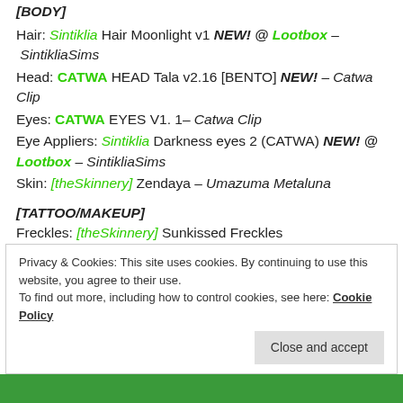Hair: Sintiklia Hair Moonlight v1 NEW! @ Lootbox – SintikliaSims
Head: CATWA HEAD Tala v2.16 [BENTO] NEW! – Catwa Clip
Eyes: CATWA EYES V1. 1– Catwa Clip
Eye Appliers: Sintiklia Darkness eyes 2 (CATWA) NEW! @ Lootbox – SintikliaSims
Skin: [theSkinnery] Zendaya – Umazuma Metaluna
[TATTOO/MAKEUP]
Freckles: [theSkinnery] Sunkissed Freckles
NEW! Cosmopolitan – Umazuma Metaluna
Lips: Sintiklia Miracle lipgloss & Shadow lipstick NEW! @
Privacy & Cookies: This site uses cookies. By continuing to use this website, you agree to their use. To find out more, including how to control cookies, see here: Cookie Policy
Close and accept